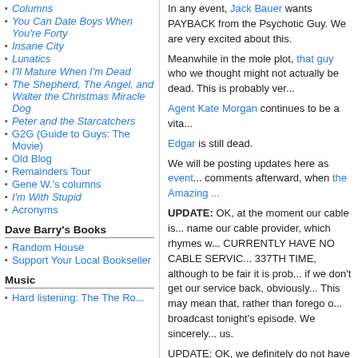Columns
You Can Date Boys When You're Forty
Insane City
Lunatics
I'll Mature When I'm Dead
The Shepherd, The Angel, and Walter the Christmas Miracle Dog
Peter and the Starcatchers
G2G (Guide to Guys: The Movie)
Old Blog
Remainders Tour
Gene W.'s columns
I'm With Stupid
Acronyms
Dave Barry's Books
Random House
Support Your Local Bookseller
Music
In any event, Jack Bauer wants PAYBACK from the Psychotic Guy. We are very excited about this.
Meanwhile in the mole plot, that guy who we thought might not actually be dead. This is probably very significant.
Agent Kate Morgan continues to be a vital character.
Edgar is still dead.
We will be posting updates here as events unfold in comments afterward, when the Amazing ...
UPDATE: OK, at the moment our cable is out. We will not name our cable provider, which rhymes with... WE CURRENTLY HAVE NO CABLE SERVICE FOR THE 337TH TIME, although to be fair it is probably our fault if we don't get our service back, obviously. This may mean that, rather than forego our coverage, we will broadcast tonight's episode. We sincerely apologize to us.
UPDATE: OK, we definitely do not have cable. As the people did in the olden days, when they crossed their wrists.
UPDATE: So I gather from the comments...